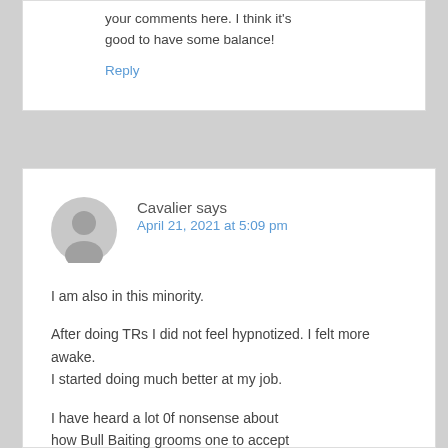your comments here. I think it's good to have some balance!
Reply
Cavalier says
April 21, 2021 at 5:09 pm
I am also in this minority.
After doing TRs I did not feel hypnotized. I felt more awake.
I started doing much better at my job.
I have heard a lot 0f nonsense about how Bull Baiting grooms one to accept